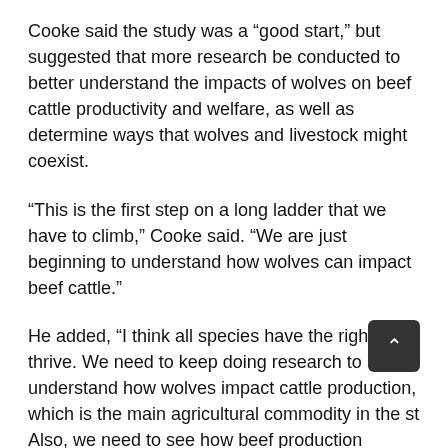Cooke said the study was a “good start,” but suggested that more research be conducted to better understand the impacts of wolves on beef cattle productivity and welfare, as well as determine ways that wolves and livestock might coexist.
“This is the first step on a long ladder that we have to climb,” Cooke said. “We are just beginning to understand how wolves can impact beef cattle.”
He added, “I think all species have the right to thrive. We need to keep doing research to understand how wolves impact cattle production, which is the main agricultural commodity in the st Also, we need to see how beef production impacts wolf population dynamics.”